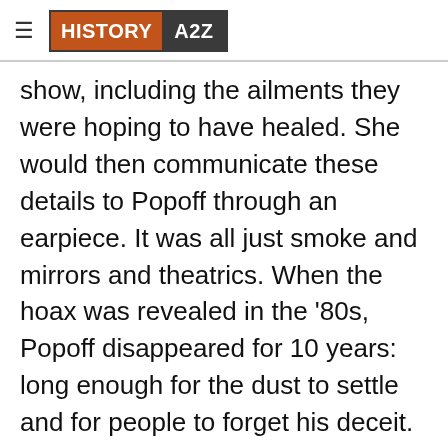HISTORY A2Z
show, including the ailments they were hoping to have healed. She would then communicate these details to Popoff through an earpiece. It was all just smoke and mirrors and theatrics. When the hoax was revealed in the '80s, Popoff disappeared for 10 years: long enough for the dust to settle and for people to forget his deceit. The fraudulent healer had a second coming in the '90s with the same shtick